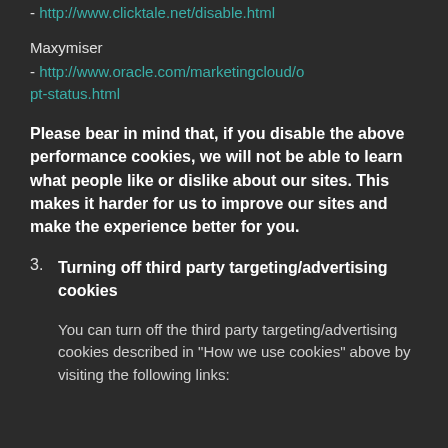- http://www.clicktale.net/disable.html
Maxymiser
- http://www.oracle.com/marketingcloud/opt-status.html
Please bear in mind that, if you disable the above performance cookies, we will not be able to learn what people like or dislike about our sites. This makes it harder for us to improve our sites and make the experience better for you.
3. Turning off third party targeting/advertising cookies
You can turn off the third party targeting/advertising cookies described in "How we use cookies" above by visiting the following links: